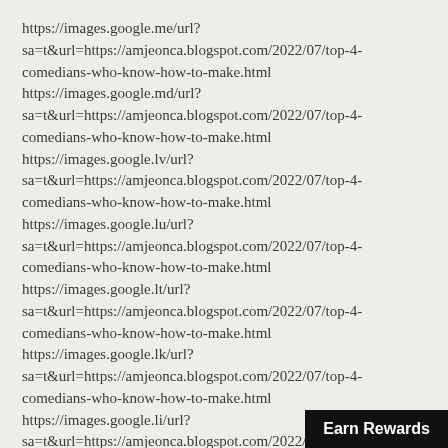https://images.google.me/url?sa=t&url=https://amjeonca.blogspot.com/2022/07/top-4-comedians-who-know-how-to-make.html
https://images.google.md/url?sa=t&url=https://amjeonca.blogspot.com/2022/07/top-4-comedians-who-know-how-to-make.html
https://images.google.lv/url?sa=t&url=https://amjeonca.blogspot.com/2022/07/top-4-comedians-who-know-how-to-make.html
https://images.google.lu/url?sa=t&url=https://amjeonca.blogspot.com/2022/07/top-4-comedians-who-know-how-to-make.html
https://images.google.lt/url?sa=t&url=https://amjeonca.blogspot.com/2022/07/top-4-comedians-who-know-how-to-make.html
https://images.google.lk/url?sa=t&url=https://amjeonca.blogspot.com/2022/07/top-4-comedians-who-know-how-to-make.html
https://images.google.li/url?sa=t&url=https://amjeonca.blogspot.com/2022/07/top-4-comedians-who-know-how-to-make.html
Earn Rewards